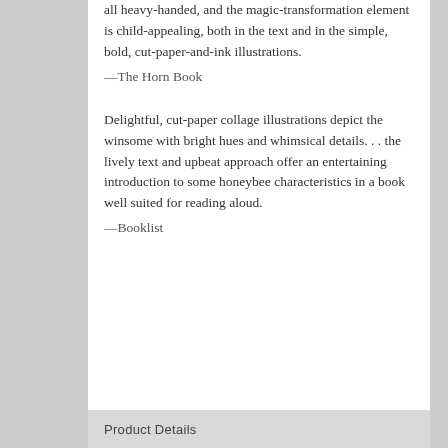all heavy-handed, and the magic-transformation element is child-appealing, both in the text and in the simple, bold, cut-paper-and-ink illustrations.
—The Horn Book
Delightful, cut-paper collage illustrations depict the winsome with bright hues and whimsical details. . . the lively text and upbeat approach offer an entertaining introduction to some honeybee characteristics in a book well suited for reading aloud.
—Booklist
Product Details